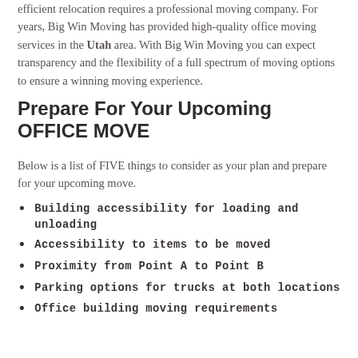efficient relocation requires a professional moving company. For years, Big Win Moving has provided high-quality office moving services in the Utah area. With Big Win Moving you can expect transparency and the flexibility of a full spectrum of moving options to ensure a winning moving experience.
Prepare For Your Upcoming OFFICE MOVE
Below is a list of FIVE things to consider as your plan and prepare for your upcoming move.
Building accessibility for loading and unloading
Accessibility to items to be moved
Proximity from Point A to Point B
Parking options for trucks at both locations
Office building moving requirements